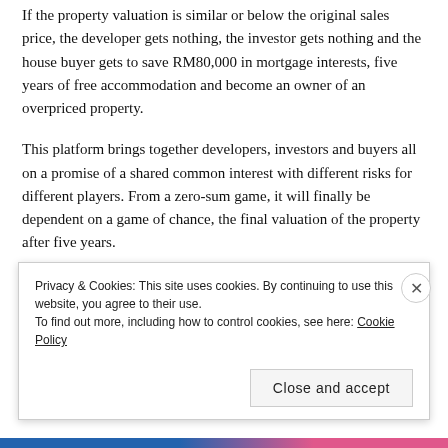If the property valuation is similar or below the original sales price, the developer gets nothing, the investor gets nothing and the house buyer gets to save RM80,000 in mortgage interests, five years of free accommodation and become an owner of an overpriced property.
This platform brings together developers, investors and buyers all on a promise of a shared common interest with different risks for different players. From a zero-sum game, it will finally be dependent on a game of chance, the final valuation of the property after five years.
So bring out your crystal ball, let the developers beware
Privacy & Cookies: This site uses cookies. By continuing to use this website, you agree to their use. To find out more, including how to control cookies, see here: Cookie Policy
Close and accept